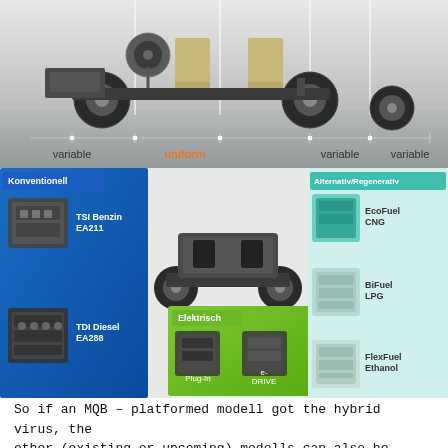[Figure (illustration): MQB platform chassis diagram showing modular components with labels: variable, uniform (in orange), variable, variable along the bottom axis]
[Figure (infographic): MQB powertrain options diagram showing Konventionell (blue) section with TSI Benzin EA211 and TDI Diesel EA288 engines, central car chassis, Elektrisch (green) section with Plug-In and e-DRIVE options, and Alternativ/Regenerativ (teal) section with EcoFuel CNG, BiFuel LPG, and FlexFuel Ethanol options]
So if an MQB – platformed modell got the hybrid virus, the other (existing or upcoming) modells can also be infected